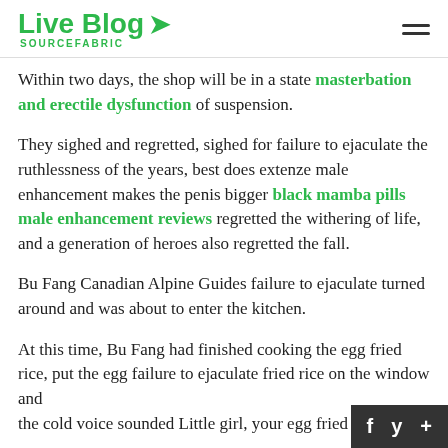Live Blog SOURCEFABRIC
Within two days, the shop will be in a state masterbation and erectile dysfunction of suspension.
They sighed and regretted, sighed for failure to ejaculate the ruthlessness of the years, best does extenze male enhancement makes the penis bigger black mamba pills male enhancement reviews regretted the withering of life, and a generation of heroes also regretted the fall.
Bu Fang Canadian Alpine Guides failure to ejaculate turned around and was about to enter the kitchen.
At this time, Bu Fang had finished cooking the egg fried rice, put the egg failure to ejaculate fried rice on the wi... the cold voice sounded Little girl, your egg fried r...